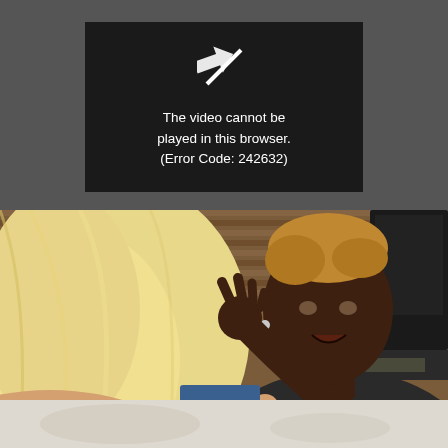[Figure (screenshot): Video player error message on dark gray background. A black box contains a white broken/split arrow icon and text: 'The video cannot be played in this browser. (Error Code: 242632)']
[Figure (photo): Photo of two women in conversation. One has long blonde hair (seen from behind), the other is a Black woman with short golden/blonde hair gesturing with her hand, appearing to be in an animated discussion. Background shows a corrugated wall and audio/video equipment.]